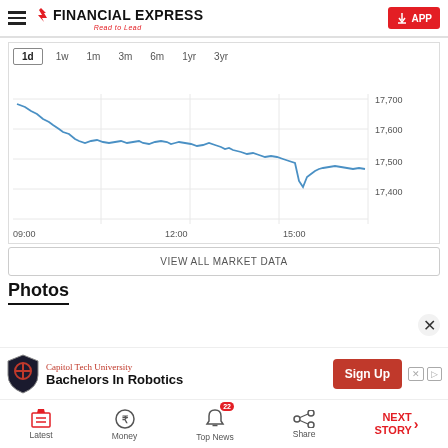Financial Express — Read to Lead
[Figure (line-chart): Intraday line chart showing Nifty index declining from ~17,700 at 09:00 to ~17,500 by 15:00 with a sharp dip near 15:00]
VIEW ALL MARKET DATA
Photos
Capitol Tech University — Bachelors In Robotics — Sign Up
Latest | Money | Top News 22 | Share | NEXT STORY